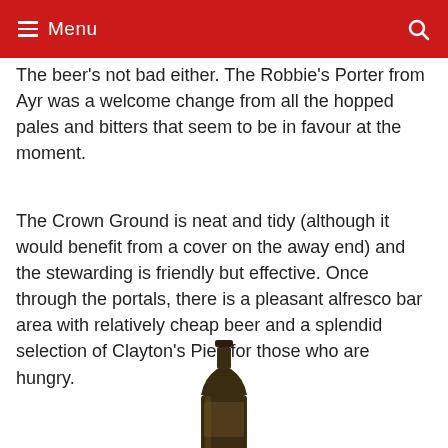Menu
The beer's not bad either. The Robbie's Porter from Ayr was a welcome change from all the hopped pales and bitters that seem to be in favour at the moment.
The Crown Ground is neat and tidy (although it would benefit from a cover on the away end) and the stewarding is friendly but effective. Once through the portals, there is a pleasant alfresco bar area with relatively cheap beer and a splendid selection of Clayton's Pies for those who are hungry.
[Figure (photo): A dark glass beer bottle, partially visible at the bottom of the page, viewed from the front against a white background.]